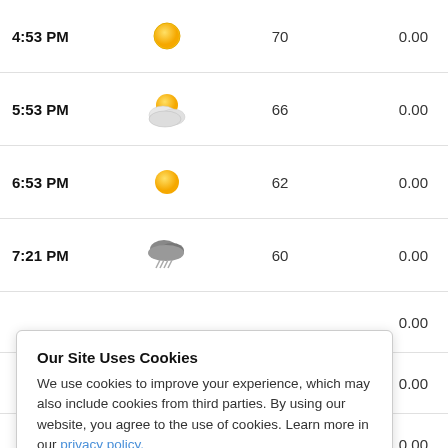| Time | Icon | Temp | Precip |
| --- | --- | --- | --- |
| 4:53 PM | [sunny] | 70 | 0.00 |
| 5:53 PM | [partly cloudy] | 66 | 0.00 |
| 6:53 PM | [sunny] | 62 | 0.00 |
| 7:21 PM | [thunderstorm] | 60 | 0.00 |
|  |  |  | 0.00 |
|  |  |  | 0.00 |
|  |  |  | 0.00 |
| 10:53 PM | [moon/cloudy] | 51 | 0.00 |
Our Site Uses Cookies
We use cookies to improve your experience, which may also include cookies from third parties. By using our website, you agree to the use of cookies. Learn more in our privacy policy.